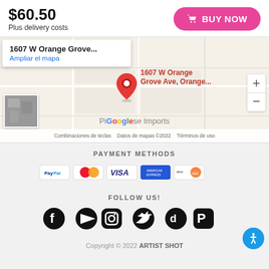$60.50
Plus delivery costs
[Figure (screenshot): Google Map showing location at 1607 W Orange Grove Ave, Orange...]
PAYMENT METHODS
[Figure (infographic): Payment method icons: PayPal, Mastercard, Visa, American Express, Discover]
FOLLOW US!
[Figure (infographic): Social media icons: Facebook, YouTube, Instagram, Twitter, TikTok, Pinterest]
Copyright © 2022 ARTIST SHOT